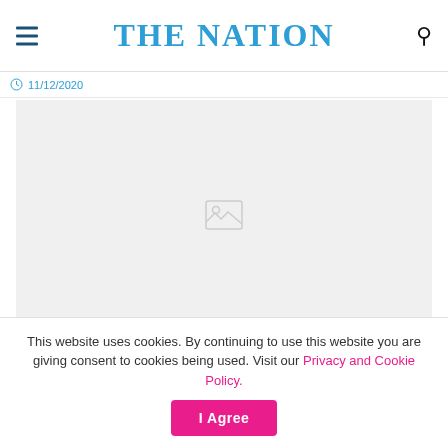THE NATION
11/12/2020
[Figure (photo): Image placeholder with broken image icon on light gray background]
This website uses cookies. By continuing to use this website you are giving consent to cookies being used. Visit our Privacy and Cookie Policy.